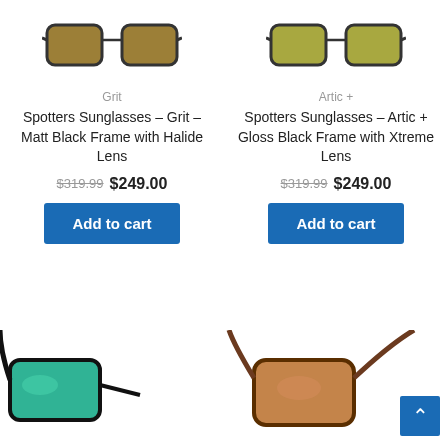[Figure (photo): Partial top view of Spotters Grit sunglasses with dark brown lens]
[Figure (photo): Partial top view of Spotters Artic+ sunglasses with olive/yellow lens]
Grit
Spotters Sunglasses – Grit – Matt Black Frame with Halide Lens
$319.99 $249.00
Add to cart
Artic +
Spotters Sunglasses – Artic + Gloss Black Frame with Xtreme Lens
$319.99 $249.00
Add to cart
[Figure (photo): Bottom portion of black sunglasses with blue-green mirror lenses]
[Figure (photo): Bottom portion of brown sunglasses with copper/brown lenses]